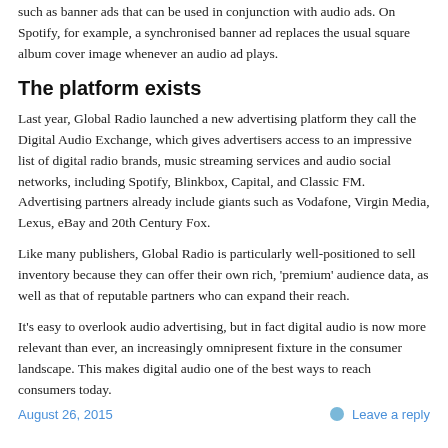such as banner ads that can be used in conjunction with audio ads. On Spotify, for example, a synchronised banner ad replaces the usual square album cover image whenever an audio ad plays.
The platform exists
Last year, Global Radio launched a new advertising platform they call the Digital Audio Exchange, which gives advertisers access to an impressive list of digital radio brands, music streaming services and audio social networks, including Spotify, Blinkbox, Capital, and Classic FM. Advertising partners already include giants such as Vodafone, Virgin Media, Lexus, eBay and 20th Century Fox.
Like many publishers, Global Radio is particularly well-positioned to sell inventory because they can offer their own rich, 'premium' audience data, as well as that of reputable partners who can expand their reach.
It's easy to overlook audio advertising, but in fact digital audio is now more relevant than ever, an increasingly omnipresent fixture in the consumer landscape. This makes digital audio one of the best ways to reach consumers today.
August 26, 2015    Leave a reply